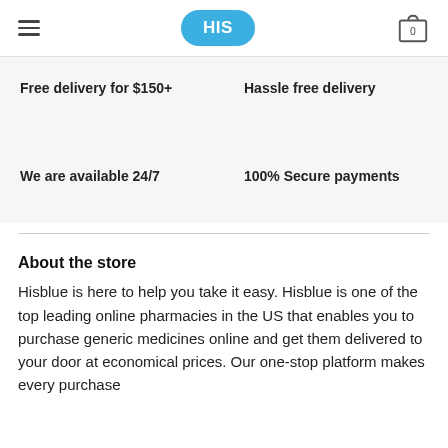HIS
Free delivery for $150+
Hassle free delivery
We are available 24/7
100% Secure payments
About the store
Hisblue is here to help you take it easy. Hisblue is one of the top leading online pharmacies in the US that enables you to purchase generic medicines online and get them delivered to your door at economical prices. Our one-stop platform makes every purchase